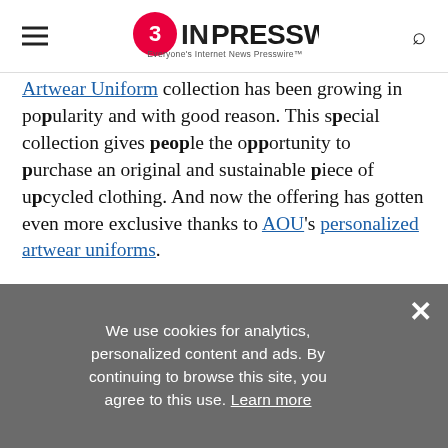EINPresswire — Everyone's Internet News Presswire
Artwear Uniform collection has been growing in popularity and with good reason. This special collection gives people the opportunity to purchase an original and sustainable piece of upcycled clothing. And now the offering has gotten even more exclusive thanks to AOU's personalized artwear uniforms.
"Now you can co-create your very own handmade, custom artwear piece," said Shireen Jamehdor, Creative Director for AOU.
We use cookies for analytics, personalized content and ads. By continuing to browse this site, you agree to this use. Learn more